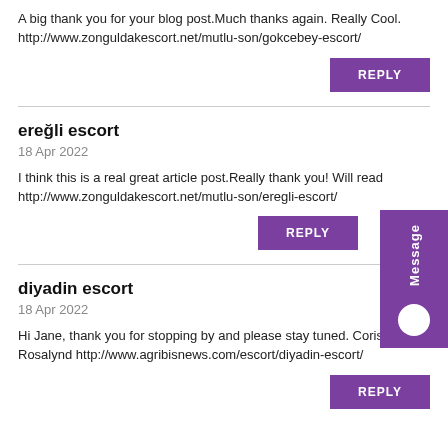A big thank you for your blog post.Much thanks again. Really Cool.
http://www.zonguldakescort.net/mutlu-son/gokcebey-escort/
REPLY
ereğli escort
18 Apr 2022
I think this is a real great article post.Really thank you! Will read on…
http://www.zonguldakescort.net/mutlu-son/eregli-escort/
REPLY
diyadin escort
18 Apr 2022
Hi Jane, thank you for stopping by and please stay tuned. Corissa Wait Rosalynd http://www.agribisnews.com/escort/diyadin-escort/
REPLY